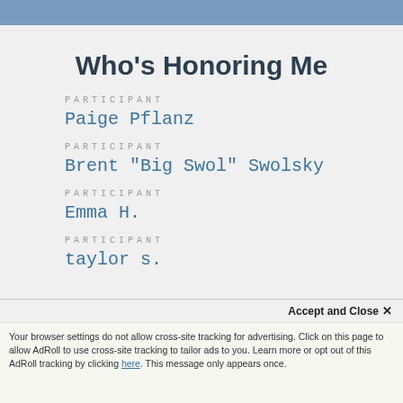Who's Honoring Me
PARTICIPANT
Paige Pflanz
PARTICIPANT
Brent "Big Swol" Swolsky
PARTICIPANT
Emma H.
PARTICIPANT
taylor s.
Accept and Close ×
Your browser settings do not allow cross-site tracking for advertising. Click on this page to allow AdRoll to use cross-site tracking to tailor ads to you. Learn more or opt out of this AdRoll tracking by clicking here. This message only appears once.